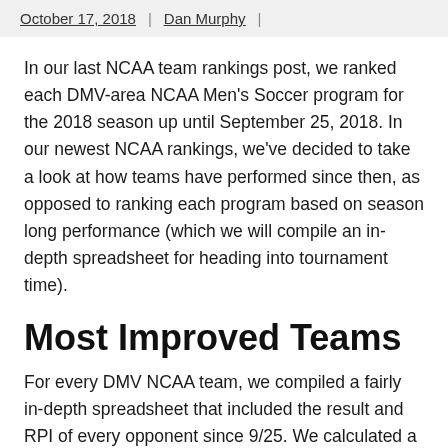October 17, 2018 | Dan Murphy |
In our last NCAA team rankings post, we ranked each DMV-area NCAA Men's Soccer program for the 2018 season up until September 25, 2018. In our newest NCAA rankings, we've decided to take a look at how teams have performed since then, as opposed to ranking each program based on season long performance (which we will compile an in-depth spreadsheet for heading into tournament time).
Most Improved Teams
For every DMV NCAA team, we compiled a fairly in-depth spreadsheet that included the result and RPI of every opponent since 9/25. We calculated a point value for each result: